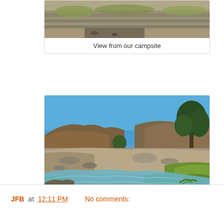[Figure (photo): Partial view of a rocky/grassy campsite landscape from above, cropped at top]
View from our campsite
[Figure (photo): The Hale River bed with clear blue water, rocky banks, green grass and trees, under a bright blue sky with hills in the background]
The Hale River bed
.
JFB at 12:11 PM   No comments: